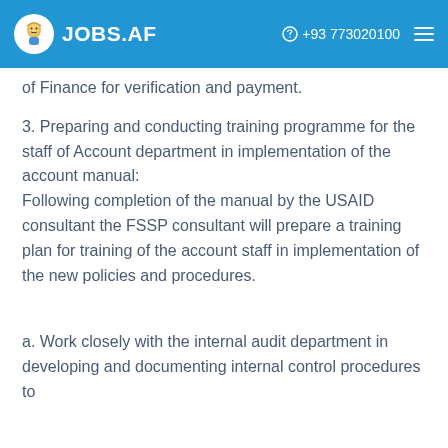JOBS.AF   +93 773020100
of Finance for verification and payment.
3. Preparing and conducting training programme for the staff of Account department in implementation of the account manual: Following completion of the manual by the USAID consultant the FSSP consultant will prepare a training plan for training of the account staff in implementation of the new policies and procedures.
a. Work closely with the internal audit department in developing and documenting internal control procedures to